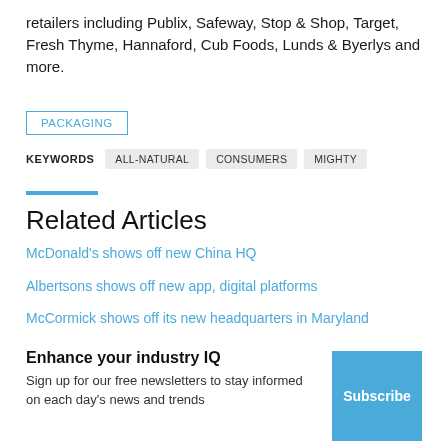retailers including Publix, Safeway, Stop & Shop, Target, Fresh Thyme, Hannaford, Cub Foods, Lunds & Byerlys and more.
PACKAGING
KEYWORDS  ALL-NATURAL  CONSUMERS  MIGHTY
Related Articles
McDonald's shows off new China HQ
Albertsons shows off new app, digital platforms
McCormick shows off its new headquarters in Maryland
Enhance your industry IQ
Sign up for our free newsletters to stay informed on each day's news and trends